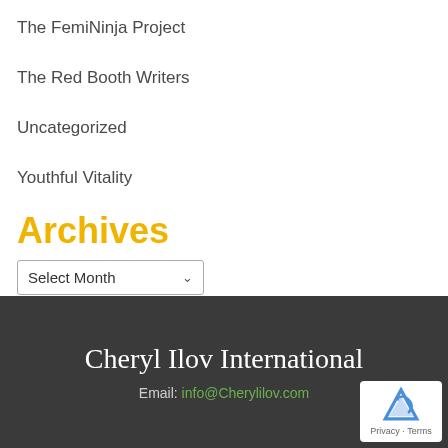The FemiNinja Project
The Red Booth Writers
Uncategorized
Youthful Vitality
Archives
Select Month
Cheryl Ilov International
Email: info@Cherylilov.com